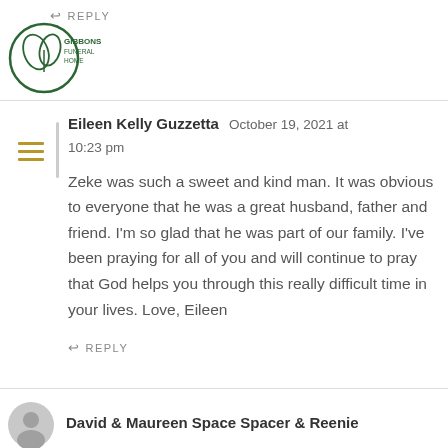↩ REPLY
[Figure (logo): Gibbons Funeral Home logo - green circular emblem with text]
Eileen Kelly Guzzetta   October 19, 2021 at 10:23 pm

Zeke was such a sweet and kind man. It was obvious to everyone that he was a great husband, father and friend. I'm so glad that he was part of our family. I've been praying for all of you and will continue to pray that God helps you through this really difficult time in your lives. Love, Eileen
↩ REPLY
David & Maureen Space Spacer & Reenie